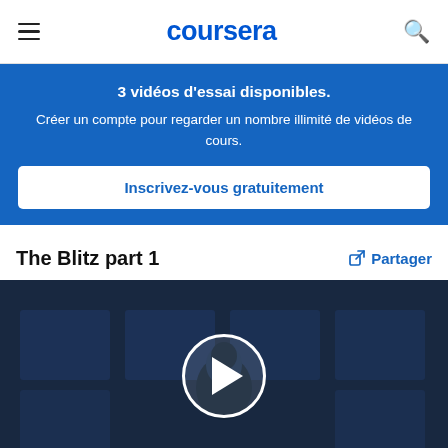coursera
3 vidéos d'essai disponibles. Créer un compte pour regarder un nombre illimité de vidéos de cours.
Inscrivez-vous gratuitement
The Blitz part 1
Partager
[Figure (screenshot): Video thumbnail showing a dark lecture hall scene with a person silhouette, with a circular play button overlay in the center]